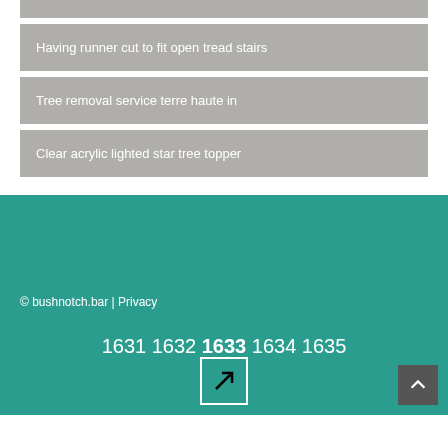Having runner cut to fit open tread stairs
Tree removal service terre haute in
Clear acrylic lighted star tree topper
© bushnotch.bar | Privacy
1631 1632 1633 1634 1635